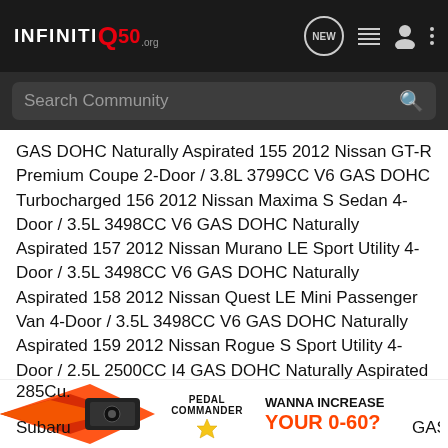INFINITI Q50 .org — NEW
GAS DOHC Naturally Aspirated 155 2012 Nissan GT-R Premium Coupe 2-Door / 3.8L 3799CC V6 GAS DOHC Turbocharged 156 2012 Nissan Maxima S Sedan 4-Door / 3.5L 3498CC V6 GAS DOHC Naturally Aspirated 157 2012 Nissan Murano LE Sport Utility 4-Door / 3.5L 3498CC V6 GAS DOHC Naturally Aspirated 158 2012 Nissan Quest LE Mini Passenger Van 4-Door / 3.5L 3498CC V6 GAS DOHC Naturally Aspirated 159 2012 Nissan Rogue S Sport Utility 4-Door / 2.5L 2500CC I4 GAS DOHC Naturally Aspirated 160 2012 Nissan Sentra Base Sedan 4-Door / 2.0L 1997CC 122Cu. In. I4 GAS DOHC Naturally Aspirated 161 2012 Nissan Titan SL Crew Cab Pickup 4-Door / 5.6L 5552CC V8 FLEX DOHC Naturally Aspirated 162 2012 Ram 1500 Tradesman Crew Cab Pickup 4-Door / 4.7L 285Cu. Subaru GAS
[Figure (other): Pedal Commander advertisement banner: orange/black arrow graphic on left, Pedal Commander logo in center, 'WANNA INCREASE YOUR 0-60?' text on right]